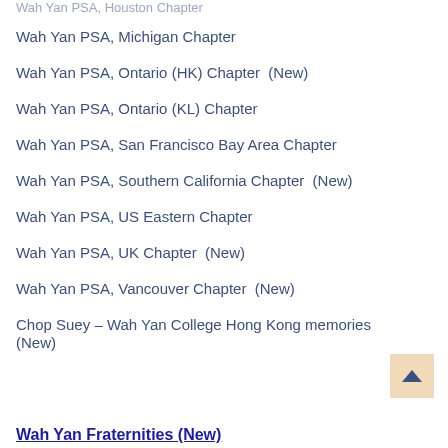Wah Yan PSA, Michigan Chapter
Wah Yan PSA, Ontario (HK) Chapter  (New)
Wah Yan PSA, Ontario (KL) Chapter
Wah Yan PSA, San Francisco Bay Area Chapter
Wah Yan PSA, Southern California Chapter  (New)
Wah Yan PSA, US Eastern Chapter
Wah Yan PSA, UK Chapter  (New)
Wah Yan PSA, Vancouver Chapter  (New)
Chop Suey – Wah Yan College Hong Kong memories (New)
Wah Yan Fraternities (New)